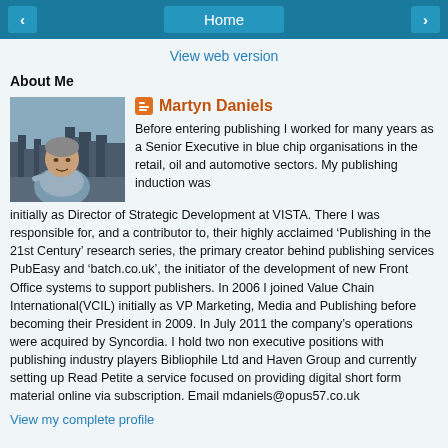< Home >
View web version
About Me
[Figure (photo): Profile photo of Martyn Daniels, a man sitting outdoors with a city skyline in the background]
Martyn Daniels
Before entering publishing I worked for many years as a Senior Executive in blue chip organisations in the retail, oil and automotive sectors. My publishing induction was initially as Director of Strategic Development at VISTA. There I was responsible for, and a contributor to, their highly acclaimed ‘Publishing in the 21st Century’ research series, the primary creator behind publishing services PubEasy and ‘batch.co.uk’, the initiator of the development of new Front Office systems to support publishers. In 2006 I joined Value Chain International(VCIL) initially as VP Marketing, Media and Publishing before becoming their President in 2009. In July 2011 the company’s operations were acquired by Syncordia. I hold two non executive positions with publishing industry players Bibliophile Ltd and Haven Group and currently setting up Read Petite a service focused on providing digital short form material online via subscription. Email mdaniels@opus57.co.uk
View my complete profile